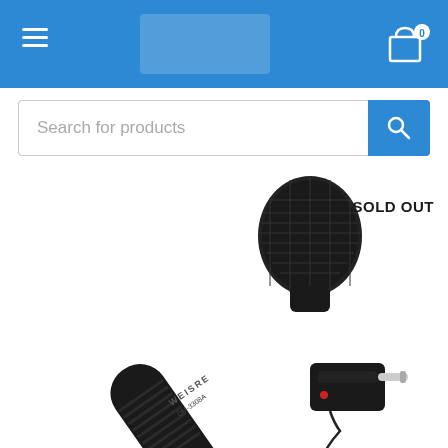[Figure (screenshot): E-commerce website screenshot showing blue navigation bar with hamburger menu and shopping cart icon, a search bar with 'Search for products' placeholder, and a product image of a WEISRE wireless microphone with receiver, labeled SOLD OUT]
Search for products
SOLD OUT